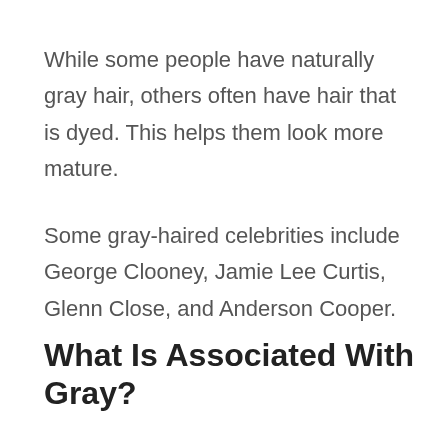While some people have naturally gray hair, others often have hair that is dyed. This helps them look more mature.
Some gray-haired celebrities include George Clooney, Jamie Lee Curtis, Glenn Close, and Anderson Cooper.
What Is Associated With Gray?